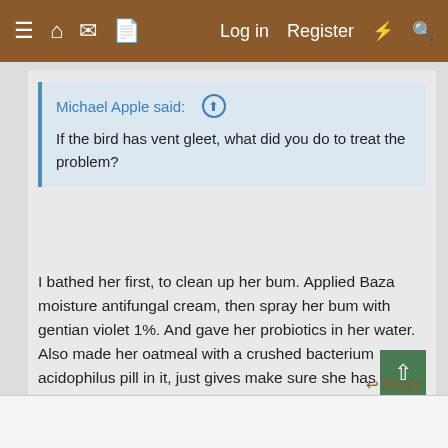≡  🏠  💬  📄   Log in   Register   ⚡  🔍
Michael Apple said: ↑
If the bird has vent gleet, what did you do to treat the problem?
I bathed her first, to clean up her bum. Applied Baza moisture antifungal cream, then spray her bum with gentian violet 1%. And gave her probiotics in her water. Also made her oatmeal with a crushed bacterium acidophilus pill in it, just gives make sure she has some in her system. Repeat every other day. Rotating ACV and probiotics.
↩ Reply